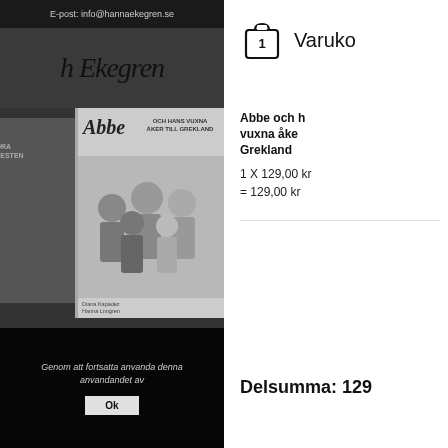E-post: info@hannaekegren.se
[Figure (screenshot): Dark website background with handwritten signature 'h Ekegren' and book cover for 'Abbe och hans vuxna åker till Grekland']
Genom att fortsatta anvanda denna ... anvandandet av
Ok
Varuko
Abbe och hans vuxna åker till Grekland
1 X 129,00 kr = 129,00 kr
Delsumma: 129